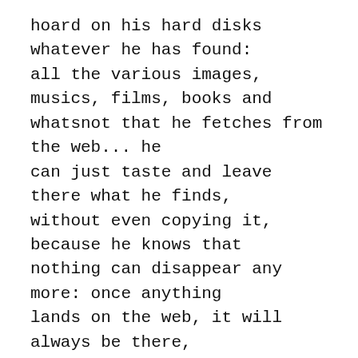hoard on his hard disks whatever he has found: all the various images, musics, films, books and whatsnot that he fetches from the web... he can just taste and leave there what he finds, without even copying it, because he knows that nothing can disappear any more: once anything lands on the web, it will always be there, available for the eternity to all those that possess its secret name...
The web-quicksand moves all the time, yet nothing can sink.
In order to fetch all kinds of delicious fruits, the seeker just needs to raise his sharp searchstrings. In perfect harmony with the surrounding internet, from the reap of the spring...